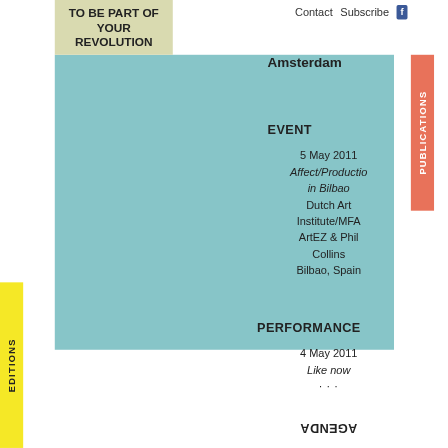TO BE PART OF YOUR REVOLUTION
Contact   Subscribe   f
Amsterdam
EVENT
5 May 2011
Affect/Production in Bilbao
Dutch Art Institute/MFA ArtEZ & Phil Collins
Bilbao, Spain
PUBLICATIONS
EDITIONS
PERFORMANCE
4 May 2011
Like now
AGENDA